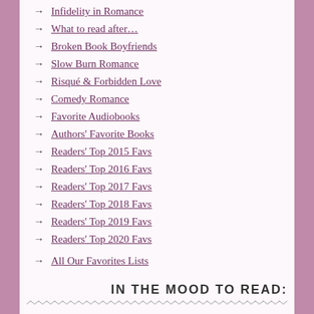Infidelity in Romance
What to read after…
Broken Book Boyfriends
Slow Burn Romance
Risqué & Forbidden Love
Comedy Romance
Favorite Audiobooks
Authors' Favorite Books
Readers' Top 2015 Favs
Readers' Top 2016 Favs
Readers' Top 2017 Favs
Readers' Top 2018 Favs
Readers' Top 2019 Favs
Readers' Top 2020 Favs
All Our Favorites Lists
IN THE MOOD TO READ:
Super-Angst?